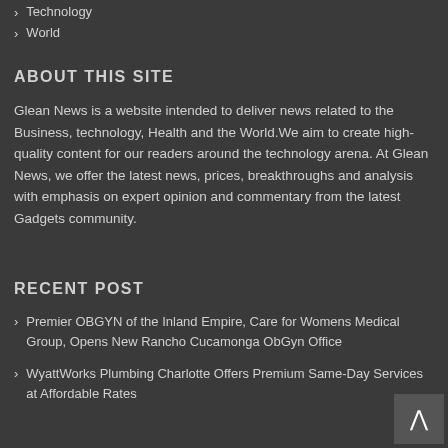Technology
World
ABOUT THIS SITE
Glean News is a website intended to deliver news related to the Business, technology, Health and the World.We aim to create high-quality content for our readers around the technology arena. At Glean News, we offer the latest news, prices, breakthroughs and analysis with emphasis on expert opinion and commentary from the latest Gadgets community.
RECENT POST
Premier OBGYN of the Inland Empire, Care for Womens Medical Group, Opens New Rancho Cucamonga ObGyn Office
WyattWorks Plumbing Charlotte Offers Premium Same-Day Services at Affordable Rates